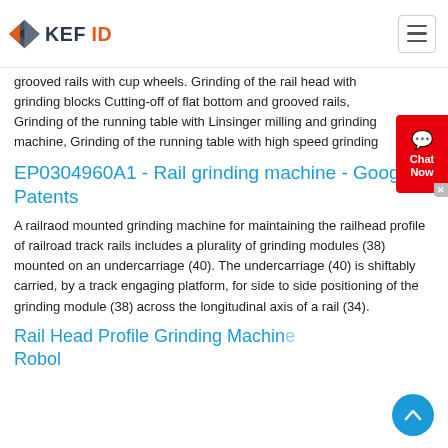[Figure (logo): KEFID logo with gray and orange diamond/arrow shapes on left and dark text KEFID on right]
grooved rails with cup wheels. Grinding of the rail head with grinding blocks Cutting-off of flat bottom and grooved rails, Grinding of the running table with Linsinger milling and grinding machine, Grinding of the running table with high speed grinding
EP0304960A1 - Rail grinding machine - Google Patents
A railraod mounted grinding machine for maintaining the railhead profile of railroad track rails includes a plurality of grinding modules (38) mounted on an undercarriage (40). The undercarriage (40) is shiftably carried, by a track engaging platform, for side to side positioning of the grinding module (38) across the longitudinal axis of a rail (34).
Rail Head Profile Grinding Machine Robol